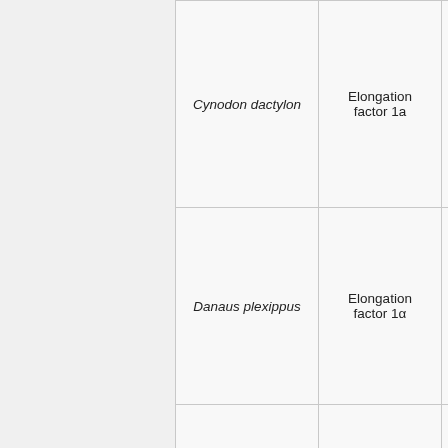| Species | Reference gene | Details |
| --- | --- | --- |
| Cynodon dactylon | Elongation factor 1a | A... |
| Danaus plexippus | Elongation factor 1α | E... s... |
| Dendrocalamus latiflorus | Elongation factor 1-alpha | D... &... |